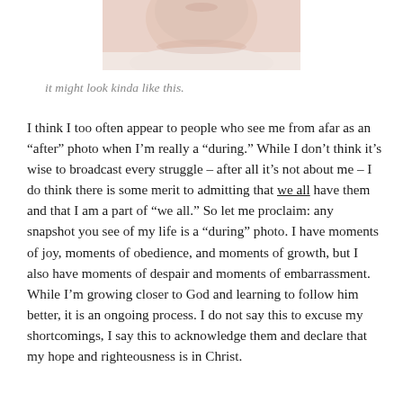[Figure (photo): Cropped bottom portion of a person's face and neck, showing chin, lips, and a light-colored shirt collar. The image is cut off at the top showing only the lower face area.]
it might look kinda like this.
I think I too often appear to people who see me from afar as an “after” photo when I’m really a “during.” While I don’t think it’s wise to broadcast every struggle – after all it’s not about me – I do think there is some merit to admitting that we all have them and that I am a part of “we all.” So let me proclaim: any snapshot you see of my life is a “during” photo. I have moments of joy, moments of obedience, and moments of growth, but I also have moments of despair and moments of embarrassment. While I’m growing closer to God and learning to follow him better, it is an ongoing process. I do not say this to excuse my shortcomings, I say this to acknowledge them and declare that my hope and righteousness is in Christ.